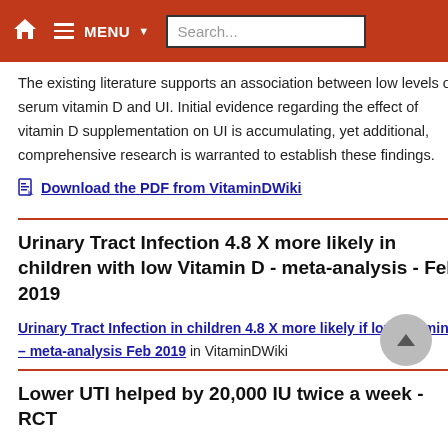MENU Search...
The existing literature supports an association between low levels of serum vitamin D and UI. Initial evidence regarding the effect of vitamin D supplementation on UI is accumulating, yet additional, comprehensive research is warranted to establish these findings.
Download the PDF from VitaminDWiki
Urinary Tract Infection 4.8 X more likely in children with low Vitamin D - meta-analysis - Feb 2019
Urinary Tract Infection in children 4.8 X more likely if low Vitamin D – meta-analysis Feb 2019 in VitaminDWiki
Lower UTI helped by 20,000 IU twice a week - RCT